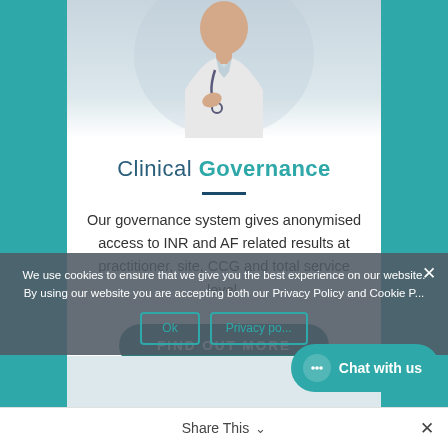[Figure (photo): Partial photo of a doctor or medical professional in a white coat, cropped at top]
Clinical Governance
Our governance system gives anonymised access to INR and AF related results at practitioner, site, CCG and total service level.
FIND OUT MORE
We use cookies to ensure that we give you the best experience on our website. By using our website you are accepting both our Privacy Policy and Cookie P...
Ok
Privacy po...
Chat with us
Share This